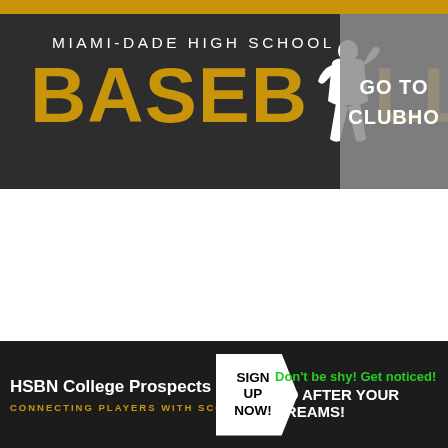[Figure (logo): Miami-Dade High School Baseball logo with gold text on dark background, and a white baseball player silhouette, partially cropped with a grey 'GO TO CLUBHO' box on the right]
HSBN College Prospects
CONNECTING PLAYERS WITH SCOUTS
SIGN UP NOW!
Don't be shy! Get noticed!
GO AFTER YOUR DREAMS!